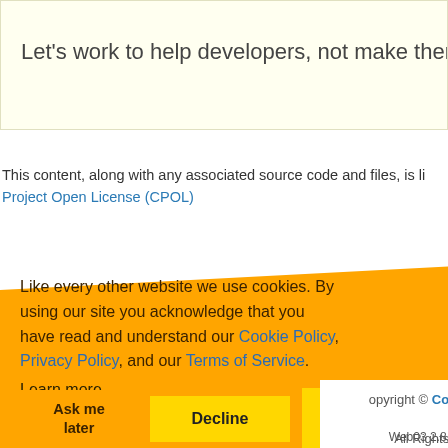Let's work to help developers, not make them feel stu…
This content, along with any associated source code and files, is li… Project Open License (CPOL)
Like every other website we use cookies. By using our site you acknowledge that you have read and understand our Cookie Policy, Privacy Policy, and our Terms of Service. Learn more
Ask me later
Decline
Allow cookies
Copyright © CodeProject, 1999-2022 All Rights Reserved.
Web03 2.8.2022.07.15.1